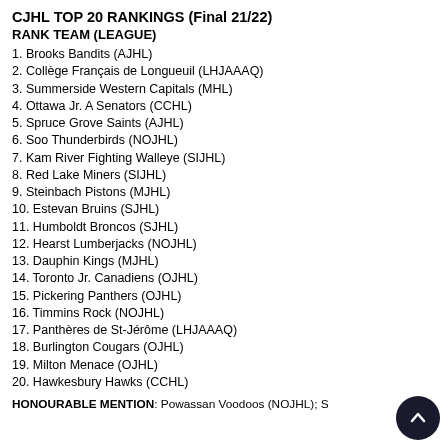CJHL TOP 20 RANKINGS (Final 21/22)
RANK TEAM (LEAGUE)
1. Brooks Bandits (AJHL)
2. Collège Français de Longueuil (LHJAAAQ)
3. Summerside Western Capitals (MHL)
4. Ottawa Jr. A Senators (CCHL)
5. Spruce Grove Saints (AJHL)
6. Soo Thunderbirds (NOJHL)
7. Kam River Fighting Walleye (SIJHL)
8. Red Lake Miners (SIJHL)
9. Steinbach Pistons (MJHL)
10. Estevan Bruins (SJHL)
11. Humboldt Broncos (SJHL)
12. Hearst Lumberjacks (NOJHL)
13. Dauphin Kings (MJHL)
14. Toronto Jr. Canadiens (OJHL)
15. Pickering Panthers (OJHL)
16. Timmins Rock (NOJHL)
17. Panthères de St-Jérôme (LHJAAAQ)
18. Burlington Cougars (OJHL)
19. Milton Menace (OJHL)
20. Hawkesbury Hawks (CCHL)
HONOURABLE MENTION: Powassan Voodoos (NOJHL); …